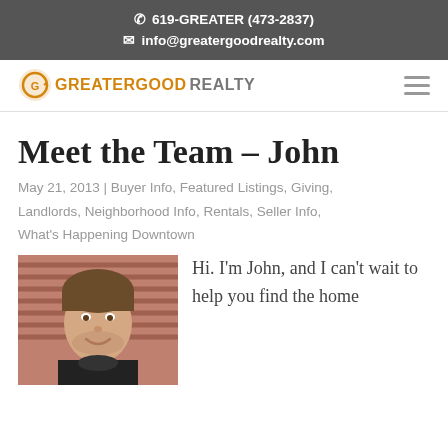619-GREATER (473-2837)
info@greatergoodrealty.com
[Figure (logo): Greater Good Realty logo with orange circular icon and text]
Meet the Team – John
May 21, 2013 | Buyer Info, Featured Listings, Giving, Landlords, Neighborhood Info, Rentals, Seller Info, What's Happening Downtown
[Figure (photo): Photo of John, a man with brown hair, smiling, in front of a red siding background]
Hi. I'm John, and I can't wait to help you find the home